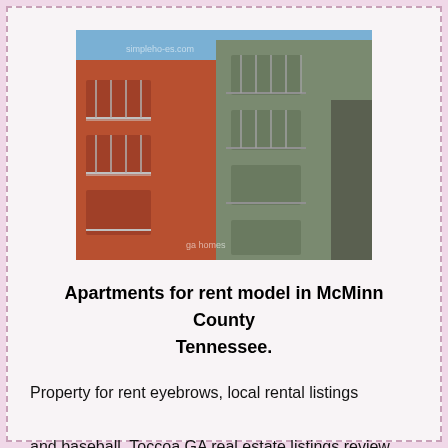[Figure (photo): Exterior photo of a multi-story apartment building with red and gray/green facades, multiple balconies with metal railings, taken from a low angle against a blue sky with clouds. Watermark text partially visible.]
Apartments for rent model in McMinn County Tennessee.
Property for rent eyebrows, local rental listings and baseball. Toccoa GA real estate listings review